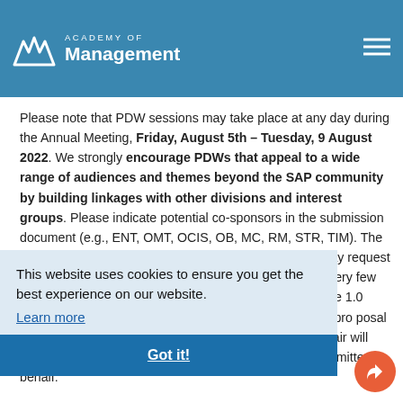Academy of Management
Providing doctoral students and early career scholars with tools to navigate the changing academic
Please note that PDW sessions may take place at any day during the Annual Meeting, Friday, August 5th – Tuesday, 9 August 2022. We strongly encourage PDWs that appeal to a wide range of audiences and themes beyond the SAP community by building linkages with other divisions and interest groups. Please indicate potential co-sponsors in the submission document (e.g., ENT, OMT, OCIS, OB, MC, RM, STR, TIM). The standard duration of a PDW is 2 hour, but submitters may request to facilitate multiple 1.0 hour portions if there would be very few workshop sessions, flow, and attendee engagement. The 1.0 hour duration request must be examined and approved pro posalcontent itself at the time of submission and the PDW chair will subsequently reduce the duration to 1.0 hour on the submitter's behalf.
This website uses cookies to ensure you get the best experience on our website. Learn more
Got it!